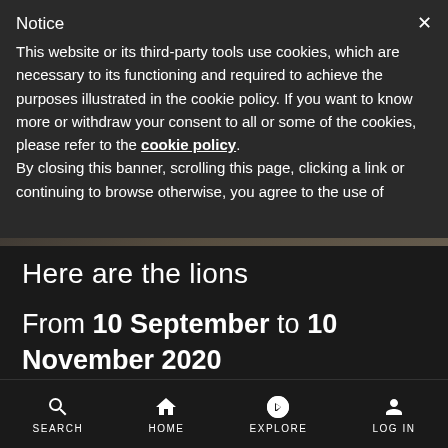Notice
This website or its third-party tools use cookies, which are necessary to its functioning and required to achieve the purposes illustrated in the cookie policy. If you want to know more or withdraw your consent to all or some of the cookies, please refer to the cookie policy.
By closing this banner, scrolling this page, clicking a link or continuing to browse otherwise, you agree to the use of
[Figure (photo): Partial view of a dark interior image visible behind the cookie notice overlay]
Here are the lions
From 10 September to 10 November 2020
Palazzo Madama - Civic Museum of Ancient Art of Turin
Turin, Piedmont, Italy
SEARCH  HOME  EXPLORE  LOG IN